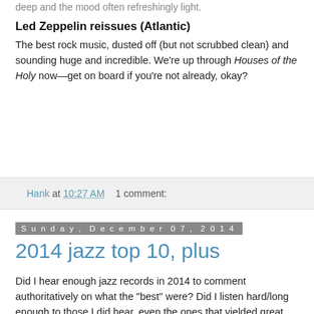deep and the mood often refreshingly light.
Led Zeppelin reissues (Atlantic)
The best rock music, dusted off (but not scrubbed clean) and sounding huge and incredible. We're up through Houses of the Holy now—get on board if you're not already, okay?
Hank at 10:27 AM    1 comment:
Sunday, December 07, 2014
2014 jazz top 10, plus
Did I hear enough jazz records in 2014 to comment authoritatively on what the "best" were? Did I listen hard/long enough to those I did hear, even the ones that yielded great pleasure? I'm thinking more about that word, listen, these days, after having read my friend Nick Podgurski's recent critique/manifesto on the topic, as it pertains to processing, appreciating and writing about music. His thoughts are well worth your time.